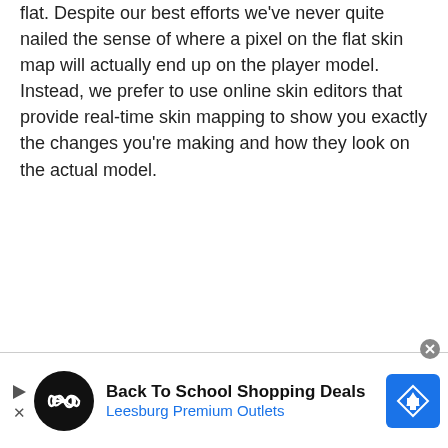flat. Despite our best efforts we've never quite nailed the sense of where a pixel on the flat skin map will actually end up on the player model. Instead, we prefer to use online skin editors that provide real-time skin mapping to show you exactly the changes you're making and how they look on the actual model.
[Figure (other): Advertisement banner: Back To School Shopping Deals — Leesburg Premium Outlets, with circular logo featuring infinity-like symbol, and blue diamond navigation icon on the right.]